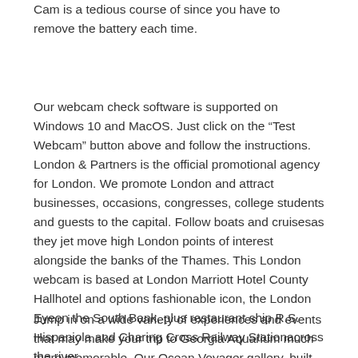Cam is a tedious course of since you have to remove the battery each time.
Our webcam check software is supported on Windows 10 and MacOS. Just click on the “Test Webcam” button above and follow the instructions. London & Partners is the official promotional agency for London. We promote London and attract businesses, occasions, congresses, college students and guests to the capital. Follow boats and cruisesas they jet move high London points of interest alongside the banks of the Thames. This London webcam is based at London Marriott Hotel County Hallhotel and options fashionable icon, the London Eyeon the South Bank, plus restaurant ship R.S. Hispaniola and Charing Cross Railway Stationacross the river.
Jump in on a wide variety of experiences and events that may make your trip to Georgia Aquarium much more memorable. Our Ocean Voyager gallery, built by